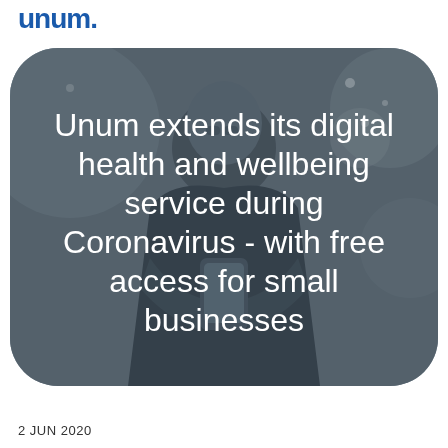Unum
[Figure (photo): Person wearing glasses and holding a smartphone, displayed inside a rounded rectangle with a dark grey overlay. Background is grey/dark tones suggesting a professional office environment.]
Unum extends its digital health and wellbeing service during Coronavirus - with free access for small businesses
2 JUN 2020